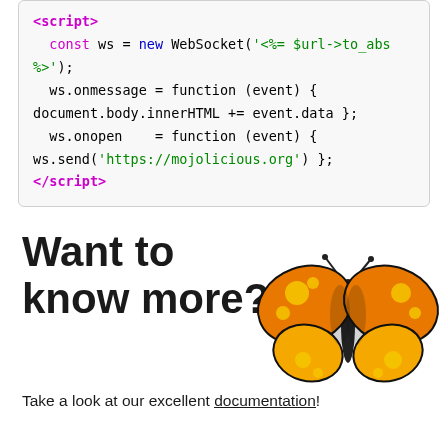[Figure (screenshot): Code block showing HTML script tag with WebSocket JavaScript code using Mojolicious template syntax]
Want to know more?
Take a look at our excellent documentation!
[Figure (illustration): Orange and yellow butterfly illustration with black outlines]